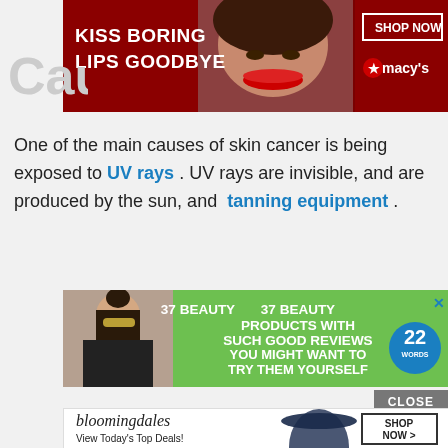[Figure (advertisement): Macy's lipstick advertisement banner: 'KISS BORING LIPS GOODBYE' with SHOP NOW button and Macy's star logo on dark red background with woman's face.]
Cau
One of the main causes of skin cancer is being exposed to UV rays . UV rays are invisible, and are produced by the sun, and tanning equipment .
[Figure (advertisement): Green advertisement banner: '37 BEAUTY PRODUCTS WITH SUCH GOOD REVIEWS YOU MIGHT WANT TO TRY THEM YOURSELF' with 22 Words badge and woman with sunglasses photo.]
[Figure (advertisement): Bloomingdale's advertisement: 'bloomingdales View Today's Top Deals!' with SHOP NOW button.]